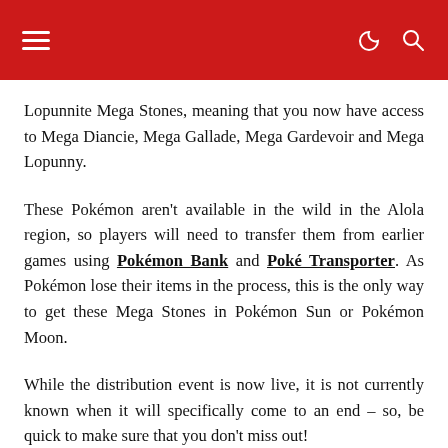Navigation header with hamburger menu, moon icon, and search icon
Lopunnite Mega Stones, meaning that you now have access to Mega Diancie, Mega Gallade, Mega Gardevoir and Mega Lopunny.
These Pokémon aren't available in the wild in the Alola region, so players will need to transfer them from earlier games using Pokémon Bank and Poké Transporter. As Pokémon lose their items in the process, this is the only way to get these Mega Stones in Pokémon Sun or Pokémon Moon.
While the distribution event is now live, it is not currently known when it will specifically come to an end – so, be quick to make sure that you don't miss out!